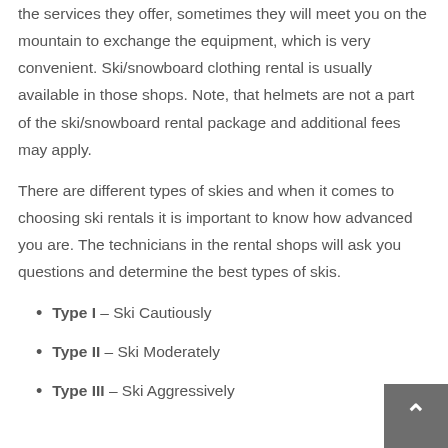the services they offer, sometimes they will meet you on the mountain to exchange the equipment, which is very convenient. Ski/snowboard clothing rental is usually available in those shops. Note, that helmets are not a part of the ski/snowboard rental package and additional fees may apply.
There are different types of skies and when it comes to choosing ski rentals it is important to know how advanced you are. The technicians in the rental shops will ask you questions and determine the best types of skis.
Type I – Ski Cautiously
Type II – Ski Moderately
Type III – Ski Aggressively